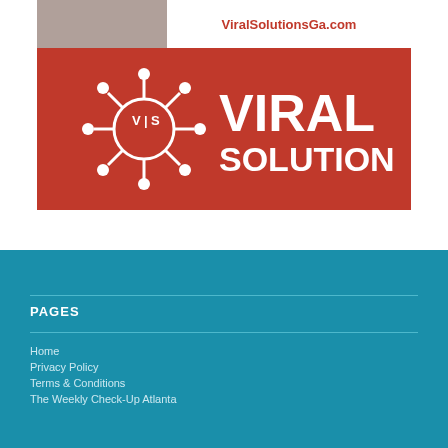[Figure (logo): Viral Solutions company banner with logo on red background and URL ViralSolutionsGa.com]
PAGES
Home
Privacy Policy
Terms & Conditions
The Weekly Check-Up Atlanta